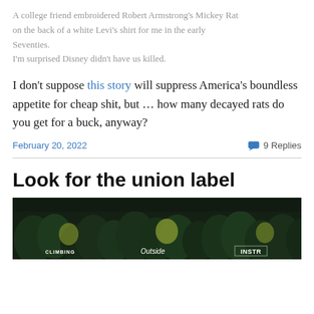A college friend embroidered Robert Armstrong's Mickey Rat on the back of a white Levi's shirt for me in the early Seventies.
I'm surprised Disney didn't have us killed.
I don't suppose this story will suppress America's boundless appetite for cheap shit, but … how many decayed rats do you get for a buck, anyway?
February 20, 2022   💬 9 Replies
Look for the union label
[Figure (photo): Aerial view of dense dark green forest with yellow-green patches, with overlaid text labels: CLIMBING, Outside, and a logo on the right]